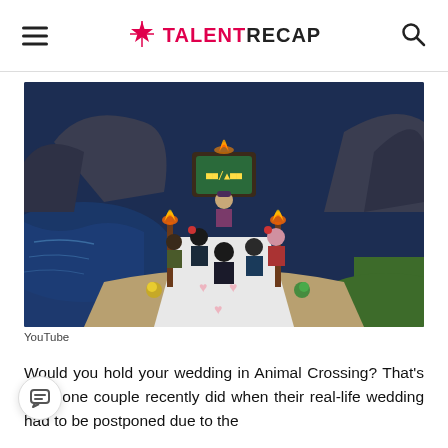TALENTRECAP
[Figure (screenshot): Screenshot from a YouTube video showing an Animal Crossing: New Horizons wedding scene. Cartoon-style characters stand on a white aisle decorated with pink hearts, flanked by tiki torches with flames. A beach setting at night with water and rocky cliffs in the background. A character stands at an altar with a glowing sign.]
YouTube
Would you hold your wedding in Animal Crossing? That's what one couple recently did when their real-life wedding had to be postponed due to the